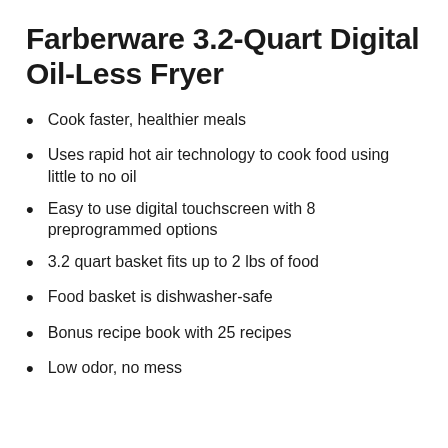Farberware 3.2-Quart Digital Oil-Less Fryer
Cook faster, healthier meals
Uses rapid hot air technology to cook food using little to no oil
Easy to use digital touchscreen with 8 preprogrammed options
3.2 quart basket fits up to 2 lbs of food
Food basket is dishwasher-safe
Bonus recipe book with 25 recipes
Low odor, no mess